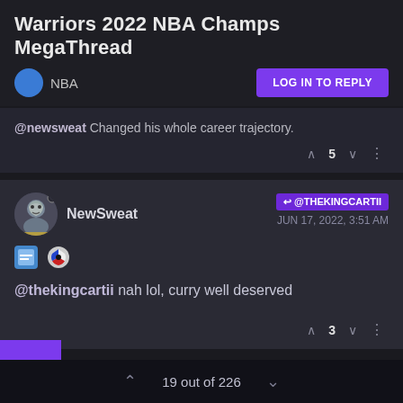Warriors 2022 NBA Champs MegaThread
NBA  LOG IN TO REPLY
@newsweat Changed his whole career trajectory.
5
NewSweat  @THEKINGCARTII  JUN 17, 2022, 3:51 AM
@thekingcartii nah lol, curry well deserved
3
19 out of 226